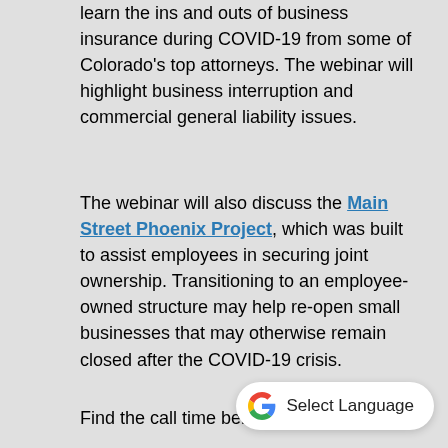learn the ins and outs of business insurance during COVID-19 from some of Colorado's top attorneys. The webinar will highlight business interruption and commercial general liability issues.
The webinar will also discuss the Main Street Phoenix Project, which was built to assist employees in securing joint ownership. Transitioning to an employee-owned structure may help re-open small businesses that may otherwise remain closed after the COVID-19 crisis.
Find the call time below that wo...